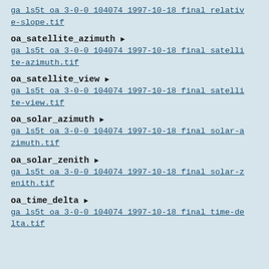ga_ls5t_oa_3-0-0_104074_1997-10-18_final_relative-slope.tif
oa_satellite_azimuth ▶
ga_ls5t_oa_3-0-0_104074_1997-10-18_final_satellite-azimuth.tif
oa_satellite_view ▶
ga_ls5t_oa_3-0-0_104074_1997-10-18_final_satellite-view.tif
oa_solar_azimuth ▶
ga_ls5t_oa_3-0-0_104074_1997-10-18_final_solar-azimuth.tif
oa_solar_zenith ▶
ga_ls5t_oa_3-0-0_104074_1997-10-18_final_solar-zenith.tif
oa_time_delta ▶
ga_ls5t_oa_3-0-0_104074_1997-10-18_final_time-delta.tif